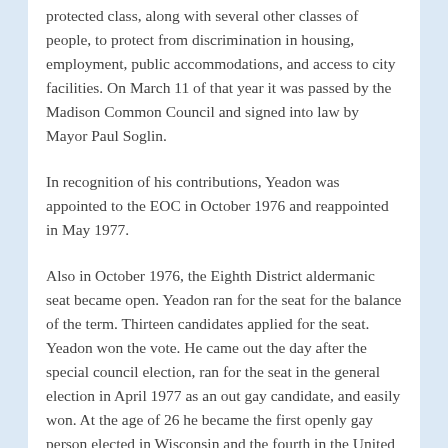protected class, along with several other classes of people, to protect from discrimination in housing, employment, public accommodations, and access to city facilities. On March 11 of that year it was passed by the Madison Common Council and signed into law by Mayor Paul Soglin.
In recognition of his contributions, Yeadon was appointed to the EOC in October 1976 and reappointed in May 1977.
Also in October 1976, the Eighth District aldermanic seat became open. Yeadon ran for the seat for the balance of the term. Thirteen candidates applied for the seat. Yeadon won the vote. He came out the day after the special council election, ran for the seat in the general election in April 1977 as an out gay candidate, and easily won. At the age of 26 he became the first openly gay person elected in Wisconsin and the fourth in the United States. San Francisco Supervisor Harvey Milk was the fifth.